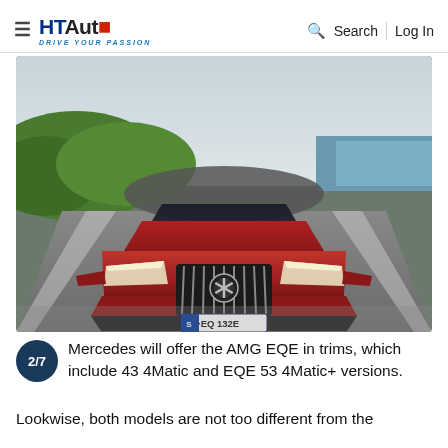HtAuto — DRIVE YOUR PASSION | Search | Log In
[Figure (photo): Front view of a red Mercedes-AMG EQE electric sedan driving on a coastal road with green hillside and water in the background. License plate reads S·EQ132E.]
2/7 Mercedes will offer the AMG EQE in trims, which include 43 4Matic and EQE 53 4Matic+ versions. Lookwise, both models are not too different from the
Lookwise, both models are not too different from the